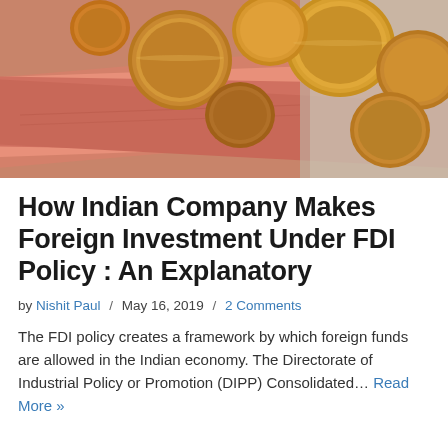[Figure (photo): Close-up photo of Euro banknotes (red/pink) with gold and bronze coins scattered on top, suggesting foreign investment and money.]
How Indian Company Makes Foreign Investment Under FDI Policy : An Explanatory
by Nishit Paul / May 16, 2019 / 2 Comments
The FDI policy creates a framework by which foreign funds are allowed in the Indian economy. The Directorate of Industrial Policy or Promotion (DIPP) Consolidated… Read More »